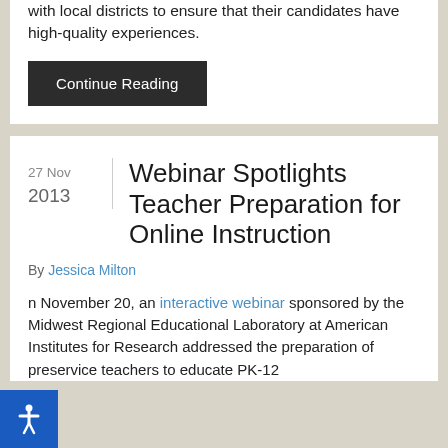with local districts to ensure that their candidates have high-quality experiences.
Continue Reading
27 Nov 2013
Webinar Spotlights Teacher Preparation for Online Instruction
By Jessica Milton
On November 20, an interactive webinar sponsored by the Midwest Regional Educational Laboratory at American Institutes for Research addressed the preparation of preservice teachers to educate PK-12